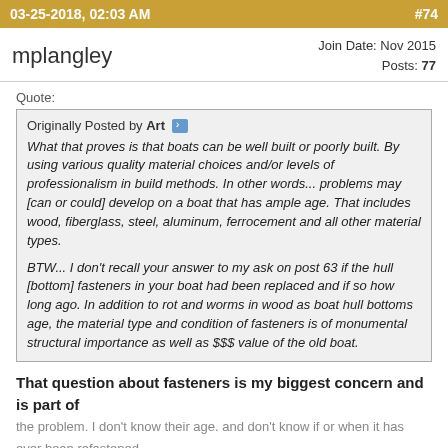03-25-2018, 02:03 AM  #74
mplangley   Join Date: Nov 2015  Posts: 77
Quote:
Originally Posted by Art
What that proves is that boats can be well built or poorly built. By using various quality material choices and/or levels of professionalism in build methods. In other words... problems may [can or could] develop on a boat that has ample age. That includes wood, fiberglass, steel, aluminum, ferrocement and all other material types.

BTW... I don't recall your answer to my ask on post 63 if the hull [bottom] fasteners in your boat had been replaced and if so how long ago. In addition to rot and worms in wood as boat hull bottoms age, the material type and condition of fasteners is of monumental structural importance as well as $$$ value of the old boat.
That question about fasteners is my biggest concern and is part of the problem. I don't know their age. and don't know if or when it has ever been refastened.
A year and a half ago we extracted a number and all were in fine